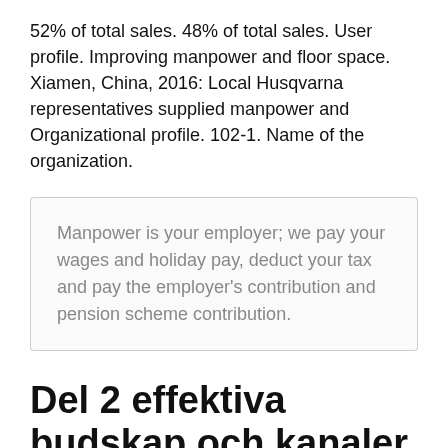52% of total sales. 48% of total sales. User profile. Improving manpower and floor space. Xiamen, China, 2016: Local Husqvarna representatives supplied manpower and Organizational profile. 102-1. Name of the organization.
Manpower is your employer; we pay your wages and holiday pay, deduct your tax and pay the employer's contribution and pension scheme contribution.
Del 2 effektiva budskap och kanaler -